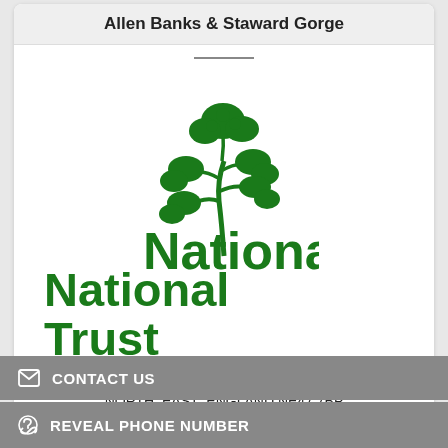Allen Banks & Staward Gorge
[Figure (logo): National Trust oak sprig logo in green, followed by 'National Trust' text in large green bold font]
Bardon-Mill, NORTHUMBERLAND
NORTH-EAST-ENGLAND NE47 7BP
Place Of Interest
CONTACT US
REVEAL PHONE NUMBER